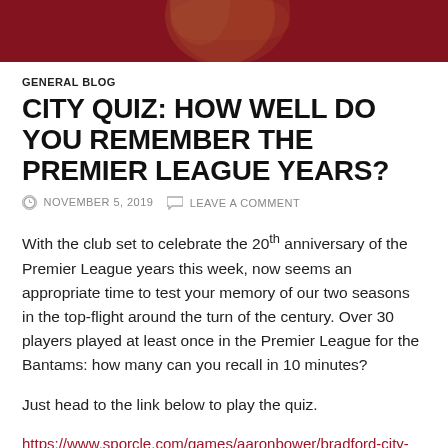[Figure (photo): A cropped photo of a footballer wearing a claret/maroon jersey, visible from chest area upward, with a blurred background]
GENERAL BLOG
CITY QUIZ: HOW WELL DO YOU REMEMBER THE PREMIER LEAGUE YEARS?
NOVEMBER 5, 2019   LEAVE A COMMENT
With the club set to celebrate the 20th anniversary of the Premier League years this week, now seems an appropriate time to test your memory of our two seasons in the top-flight around the turn of the century. Over 30 players played at least once in the Premier League for the Bantams: how many can you recall in 10 minutes?
Just head to the link below to play the quiz.
https://www.sporcle.com/games/aaronbower/bradford-city-